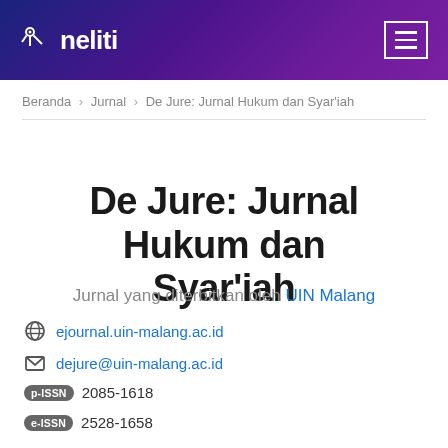neliti [logo]
Beranda › Jurnal › De Jure: Jurnal Hukum dan Syar'iah
De Jure: Jurnal Hukum dan Syar'iah
Jurnal yang diterbitkan oleh UIN Malang
ejournal.uin-malang.ac.id
dejure@uin-malang.ac.id
p-ISSN 2085-1618
e-ISSN 2528-1658